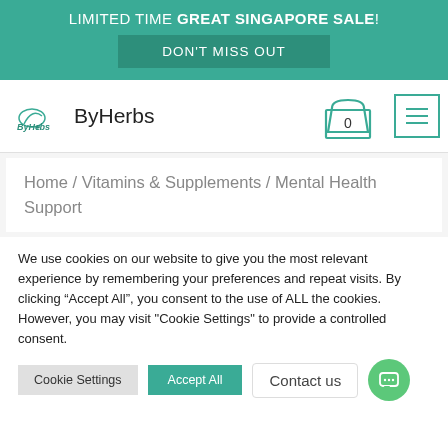LIMITED TIME GREAT SINGAPORE SALE! DON'T MISS OUT
[Figure (logo): ByHerbs logo with stylized herb text and brand name ByHerbs]
Home / Vitamins & Supplements / Mental Health Support
We use cookies on our website to give you the most relevant experience by remembering your preferences and repeat visits. By clicking “Accept All”, you consent to the use of ALL the cookies. However, you may visit "Cookie Settings" to provide a controlled consent.
Cookie Settings | Accept All | Contact us